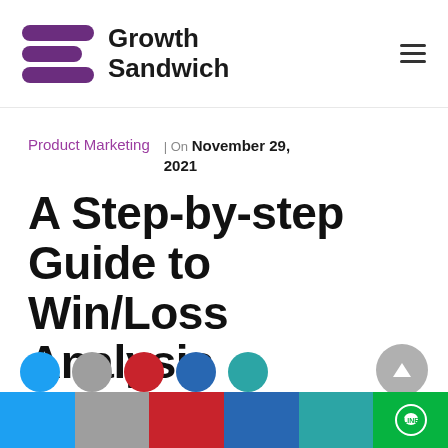[Figure (logo): Growth Sandwich logo with three horizontal purple bars and bold text 'Growth Sandwich']
Product Marketing
November 29, 2021
A Step-by-step Guide to Win/Loss Analysis
[Figure (infographic): Social media sharing buttons row: Facebook, Share, Pinterest, LinkedIn, WhatsApp, and LINE icons at the bottom of the page]